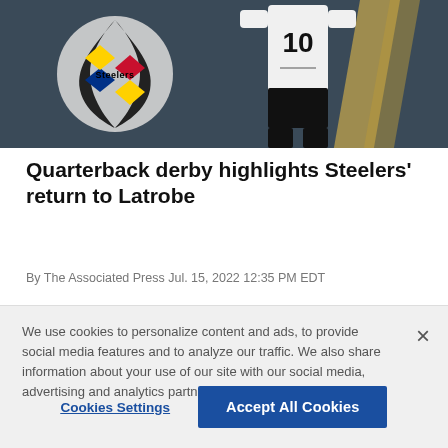[Figure (photo): Pittsburgh Steelers player wearing jersey number 10 in white uniform, with the Steelers logo visible in the background on a dark field]
Quarterback derby highlights Steelers' return to Latrobe
By The Associated Press Jul. 15, 2022 12:35 PM EDT
We use cookies to personalize content and ads, to provide social media features and to analyze our traffic. We also share information about your use of our site with our social media, advertising and analytics partners. Privacy Policy